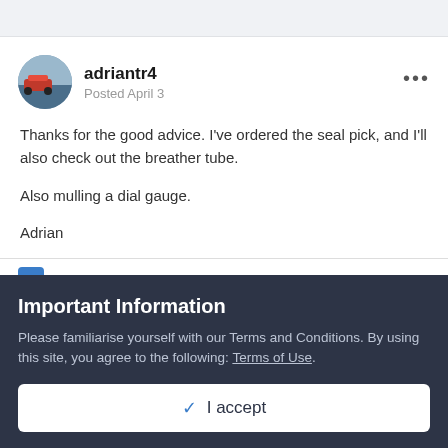adriantr4
Posted April 3
Thanks for the good advice. I've ordered the seal pick, and I'll also check out the breather tube.

Also mulling a dial gauge.

Adrian
+ Quote
Important Information
Please familiarise yourself with our Terms and Conditions. By using this site, you agree to the following: Terms of Use.
✓ I accept